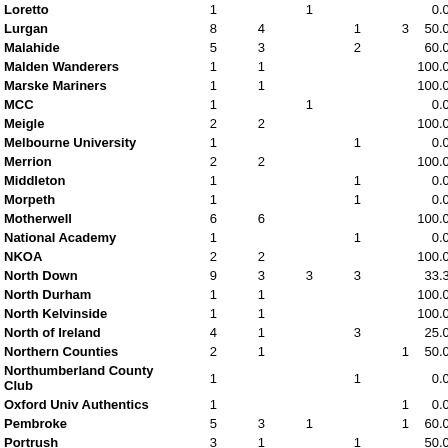| Club | P | W | L | D | NR/A | % | Pts |
| --- | --- | --- | --- | --- | --- | --- | --- |
| Loretto | 1 |  | 1 |  |  | 0.00 | 10 |
| Lurgan | 8 | 4 |  | 1 | 3 | 50.00 | 135 |
| Malahide | 5 | 3 |  | 2 |  | 60.00 | 79 |
| Malden Wanderers | 1 | 1 |  |  |  | 100.00 | 13 |
| Marske Mariners | 1 | 1 |  |  |  | 100.00 | 13 |
| MCC | 1 |  | 1 |  |  | 0.00 | 32 |
| Meigle | 2 | 2 |  |  |  | 100.00 | 35 |
| Melbourne University | 1 |  |  | 1 |  | 0.00 | 16 |
| Merrion | 2 | 2 |  |  |  | 100.00 | 27 |
| Middleton | 1 |  |  | 1 |  | 0.00 | 15 |
| Morpeth | 1 |  |  | 1 |  | 0.00 | 22 |
| Motherwell | 6 | 6 |  |  |  | 100.00 | 90 |
| National Academy | 1 |  |  | 1 |  | 0.00 | 9 |
| NKOA | 2 | 2 |  |  |  | 100.00 | 26 |
| North Down | 9 | 3 | 3 | 3 |  | 33.33 | 176 |
| North Durham | 1 | 1 |  |  |  | 100.00 | 30 |
| North Kelvinside | 1 | 1 |  |  |  | 100.00 | 7 |
| North of Ireland | 4 | 1 |  | 3 |  | 25.00 | 53 |
| Northern Counties | 2 | 1 |  |  | 1 | 50.00 | 6 |
| Northumberland County Club | 1 |  |  | 1 |  | 0.00 | 16 |
| Oxford Univ Authentics | 1 |  |  |  | 1 | 0.00 | 14 |
| Pembroke | 5 | 3 | 1 |  | 1 | 60.00 | 62 |
| Portrush | 3 | 1 |  | 1 |  | 50.00 | 80 |